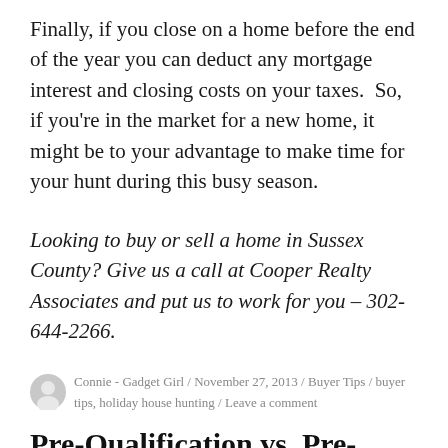Finally, if you close on a home before the end of the year you can deduct any mortgage interest and closing costs on your taxes.  So, if you're in the market for a new home, it might be to your advantage to make time for your hunt during this busy season.
Looking to buy or sell a home in Sussex County? Give us a call at Cooper Realty Associates and put us to work for you – 302-644-2266.
Connie - Gadget Girl / November 27, 2013 / Buyer Tips / buyer tips, holiday house hunting / Leave a comment
Pre-Qualification vs. Pre-